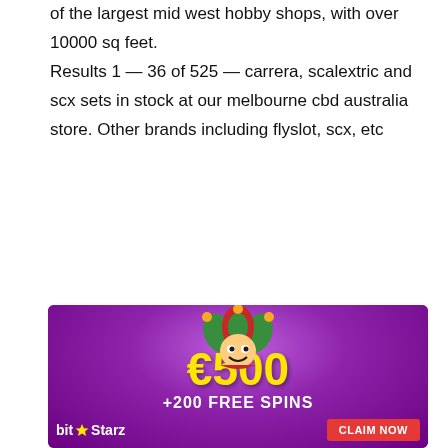of the largest mid west hobby shops, with over 10000 sq feet. Results 1 — 36 of 525 — carrera, scalextric and scx sets in stock at our melbourne cbd australia store. Other brands including flyslot, scx, etc
[Figure (illustration): Casino advertisement banner with purple background, jester mascot character, €500 +200 FREE SPINS offer, BitStarz logo and CLAIM NOW button]